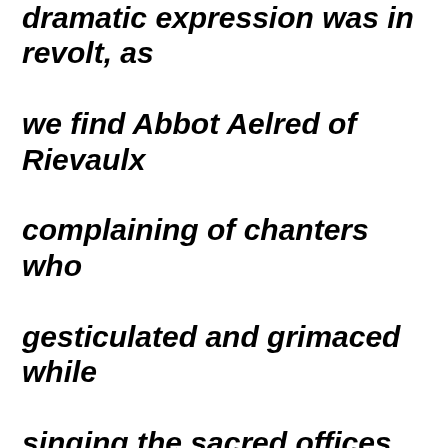dramatic expression was in revolt, as we find Abbot Aelred of Rievaulx complaining of chanters who gesticulated and grimaced while singing the sacred offices, and imitated the sound of thunder, of women's voices, and of the neighing of horses. In other and more seemly